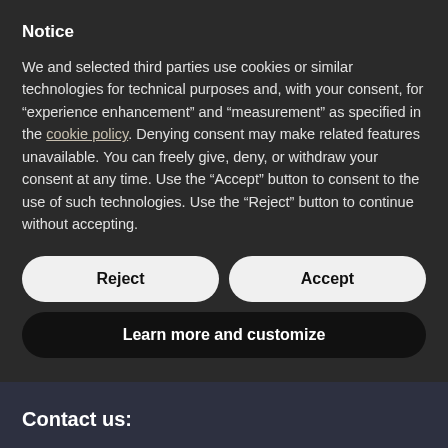Notice
We and selected third parties use cookies or similar technologies for technical purposes and, with your consent, for “experience enhancement” and “measurement” as specified in the cookie policy. Denying consent may make related features unavailable. You can freely give, deny, or withdraw your consent at any time. Use the “Accept” button to consent to the use of such technologies. Use the “Reject” button to continue without accepting.
Reject
Accept
Learn more and customize
Contact us:
infocourses@styleitaliano.com